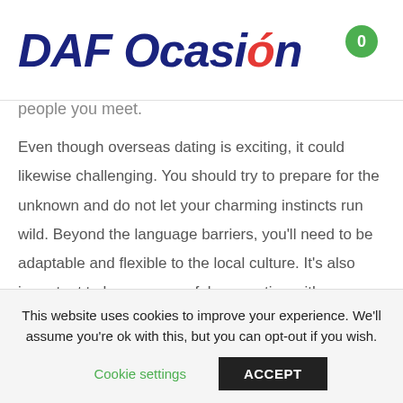DAF Ocasión
people you meet.
Even though overseas dating is exciting, it could likewise challenging. You should try to prepare for the unknown and do not let your charming instincts run wild. Beyond the language barriers, you'll need to be adaptable and flexible to the local culture. It's also important to have a powerful connection with your lover. Overseas online dating can be a high-risk endeavor,
This website uses cookies to improve your experience. We'll assume you're ok with this, but you can opt-out if you wish.
Cookie settings    ACCEPT